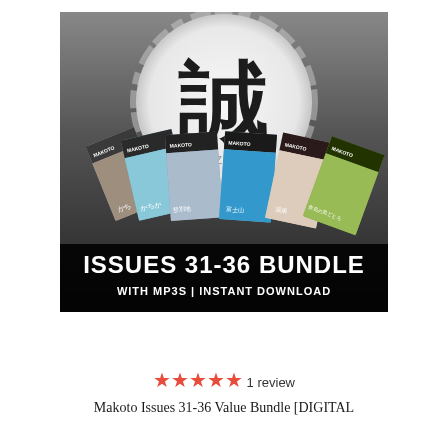[Figure (illustration): Product bundle image showing a Makoto e-zine logo (Japanese kanji 誠 in black brush stroke on white circle, over grey background) above 6 fanned-out magazine issues (31-36) with Japanese titles, and bold white text reading 'ISSUES 31-36 BUNDLE WITH MP3S | INSTANT DOWNLOAD']
★★★★★ 1 review
Makoto Issues 31-36 Value Bundle [DIGITAL